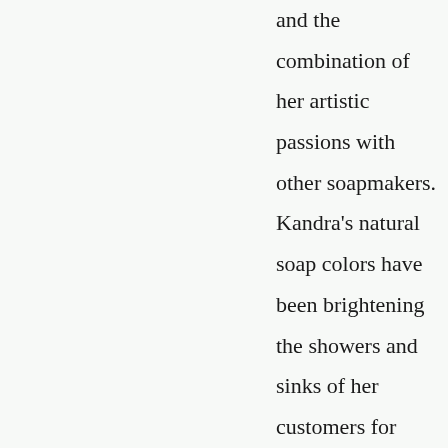and the combination of her artistic passions with other soapmakers. Kandra's natural soap colors have been brightening the showers and sinks of her customers for years, and now they can find a new glory in your soaps! This book a guide to help you understand how to extract colors from nature through infusions, teas,